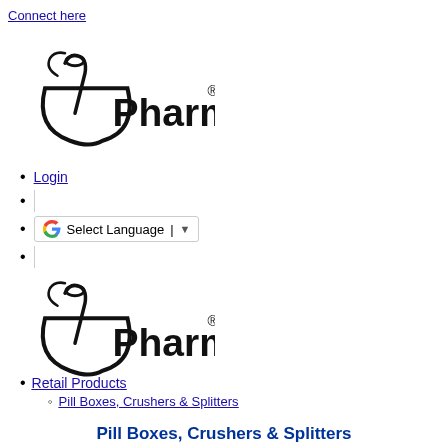Connect here
[Figure (logo): PharmaSystems logo with mortar and pestle icon (top)]
Login
|
Select Language (Google Translate widget)
|
[Figure (logo): PharmaSystems logo with mortar and pestle icon (bottom)]
Retail Products
Pill Boxes, Crushers & Splitters
Pill Boxes, Crushers & Splitters